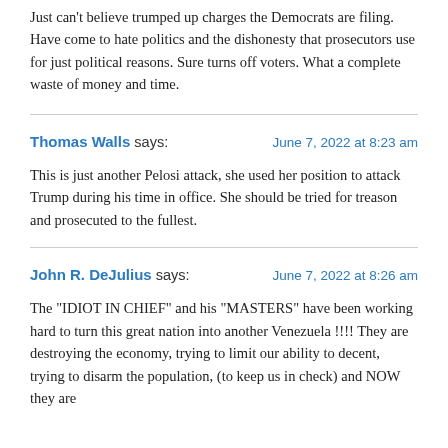Just can't believe trumped up charges the Democrats are filing. Have come to hate politics and the dishonesty that prosecutors use for just political reasons. Sure turns off voters. What a complete waste of money and time.
Thomas Walls says: June 7, 2022 at 8:23 am
This is just another Pelosi attack, she used her position to attack Trump during his time in office. She should be tried for treason and prosecuted to the fullest.
John R. DeJulius says: June 7, 2022 at 8:26 am
The "IDIOT IN CHIEF" and his "MASTERS" have been working hard to turn this great nation into another Venezuela !!!! They are destroying the economy, trying to limit our ability to decent, trying to disarm the population, (to keep us in check) and NOW they are